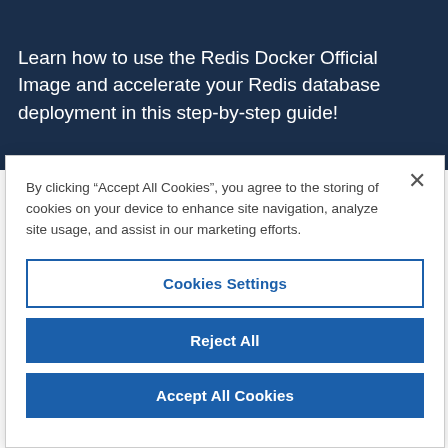Learn how to use the Redis Docker Official Image and accelerate your Redis database deployment in this step-by-step guide!
By clicking “Accept All Cookies”, you agree to the storing of cookies on your device to enhance site navigation, analyze site usage, and assist in our marketing efforts.
Cookies Settings
Reject All
Accept All Cookies